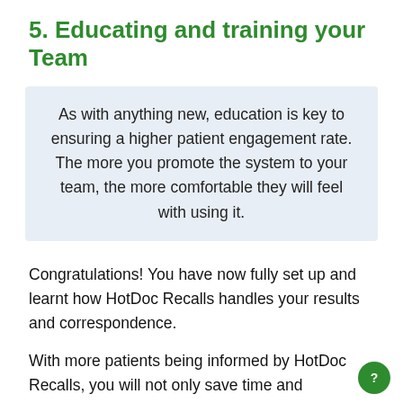5. Educating and training your Team
As with anything new, education is key to ensuring a higher patient engagement rate. The more you promote the system to your team, the more comfortable they will feel with using it.
Congratulations! You have now fully set up and learnt how HotDoc Recalls handles your results and correspondence.
With more patients being informed by HotDoc Recalls, you will not only save time and resources but find more patients coming back as making an appointment that suits their schedule is easier to